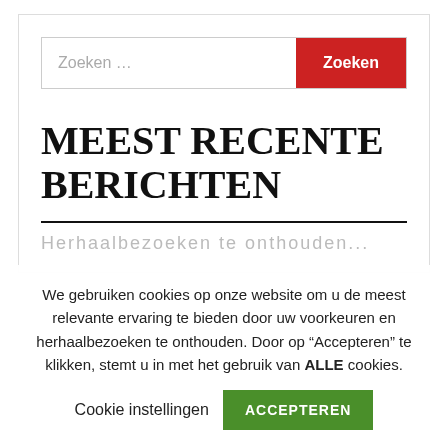[Figure (screenshot): Search bar with text input placeholder 'Zoeken ...' and a red 'Zoeken' button]
MEEST RECENTE BERICHTEN
Herhaalbezoeken te onthouden... (partially visible cut-off text)
We gebruiken cookies op onze website om u de meest relevante ervaring te bieden door uw voorkeuren en herhaalbezoeken te onthouden. Door op “Accepteren” te klikken, stemt u in met het gebruik van ALLE cookies.
Cookie instellingen  ACCEPTEREN